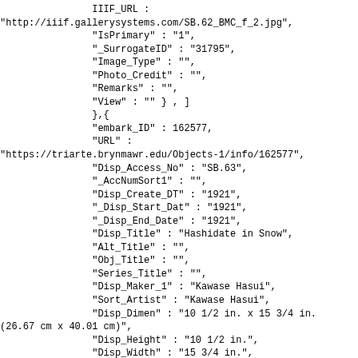IIIF_URL :
"http://iiif.gallerysystems.com/SB.62_BMC_f_2.jpg",
            "IsPrimary" : "1",
            "_SurrogateID" : "31795",
            "Image_Type" : "",
            "Photo_Credit" : "",
            "Remarks" : "",
            "View" : "" } , ]
            },{
            "embark_ID" : 162577,
            "URL" :
"https://triarte.brynmawr.edu/Objects-1/info/162577",
            "Disp_Access_No" : "SB.63",
            "_AccNumSort1" : "",
            "Disp_Create_DT" : "1921",
            "_Disp_Start_Dat" : "1921",
            "_Disp_End_Date" : "1921",
            "Disp_Title" : "Hashidate in Snow",
            "Alt_Title" : "",
            "Obj_Title" : "",
            "Series_Title" : "",
            "Disp_Maker_1" : "Kawase Hasui",
            "Sort_Artist" : "Kawase Hasui",
            "Disp_Dimen" : "10 1/2 in. x 15 3/4 in.
(26.67 cm x 40.01 cm)",
            "Disp_Height" : "10 1/2 in.",
            "Disp_Width" : "15 3/4 in.",
            "Dimen_Extent" : "",
            "Medium" : "Color woodblock",
            "Support" : "",
            "Disp_Media" : "Color woodblock"